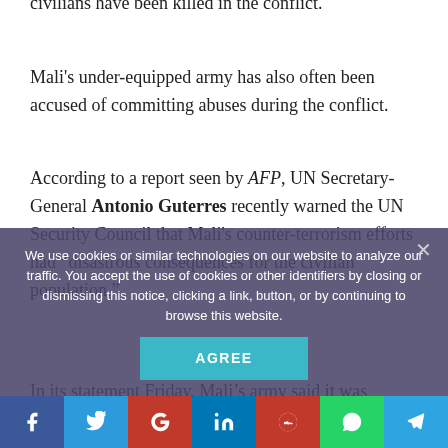civilians have been killed in the conflict.
Mali's under-equipped army has also often been accused of committing abuses during the conflict.
According to a report seen by AFP, UN Secretary-General Antonio Guterres recently warned the UN Security Council that Mali's counter-terrorism efforts had “disastrous consequences for the civilian population.”
In its statement Friday, Mali’s army said it was guided by human rights and international law, and called for “restraint against criminal opportunists.”
The country has seen a sharp uptick in violence in
We use cookies or similar technologies on our website to analyze our traffic. You accept the use of cookies or other identifiers by closing or dismissing this notice, clicking a link, button, or by continuing to browse this website.